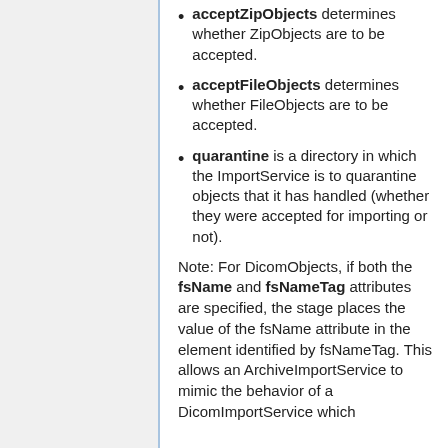acceptZipObjects determines whether ZipObjects are to be accepted.
acceptFileObjects determines whether FileObjects are to be accepted.
quarantine is a directory in which the ImportService is to quarantine objects that it has handled (whether they were accepted for importing or not).
Note: For DicomObjects, if both the fsName and fsNameTag attributes are specified, the stage places the value of the fsName attribute in the element identified by fsNameTag. This allows an ArchiveImportService to mimic the behavior of a DicomImportService which